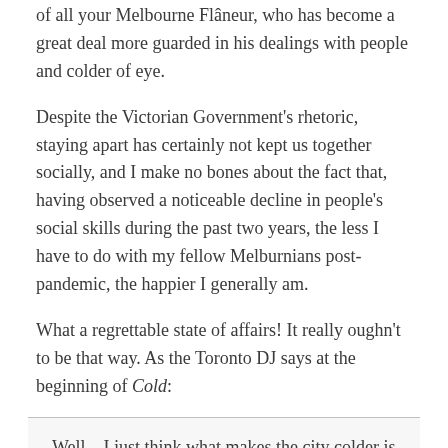of all your Melbourne Flâneur, who has become a great deal more guarded in his dealings with people and colder of eye.
Despite the Victorian Government's rhetoric, staying apart has certainly not kept us together socially, and I make no bones about the fact that, having observed a noticeable decline in people's social skills during the past two years, the less I have to do with my fellow Melburnians post-pandemic, the happier I generally am.
What a regrettable state of affairs! It really oughn't to be that way. As the Toronto DJ says at the beginning of Cold:
Well – I just think what makes the city colder is the fact that we're so busy trying to stay out of each other's way....
—Devo C., Cold